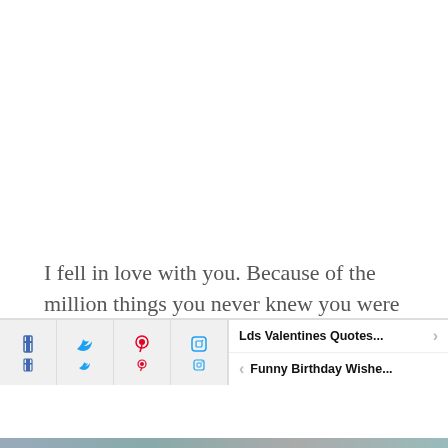I fell in love with you. Because of the million things you never knew you were doing.
Picture With Quotes Submitted By Mckeague. Submit your Own Quotes.
Advertisement
You May Like Also
Lds Valentines Quotes...
Funny Birthday Wishe...